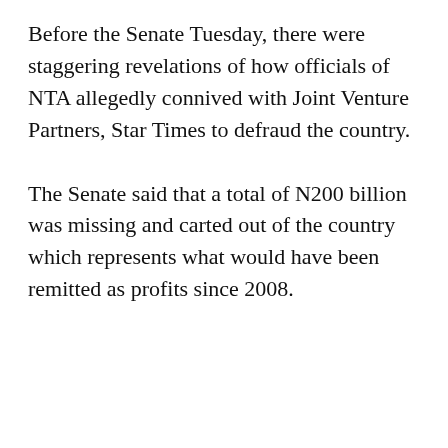Before the Senate Tuesday, there were staggering revelations of how officials of NTA allegedly connived with Joint Venture Partners, Star Times to defraud the country.
The Senate said that a total of N200 billion was missing and carted out of the country which represents what would have been remitted as profits since 2008.